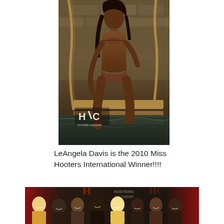[Figure (photo): A woman in a bikini posing on a wooden dock structure near water, with the Hooters Calendar (HC) logo visible in the lower left of the photo.]
LeAngela Davis is the 2010 Miss Hooters International Winner!!!!
[Figure (photo): Group photo of several young women posing together at what appears to be a Hooters Calendar event, with branded signage visible in the background.]